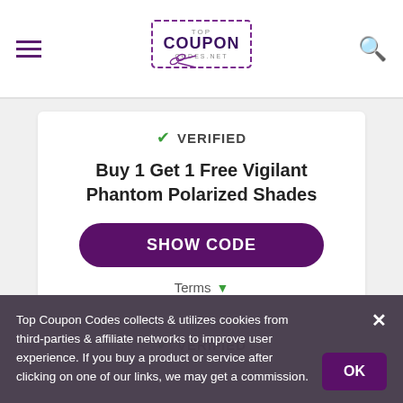Top Coupon Codes logo, navigation
VERIFIED
Buy 1 Get 1 Free Vigilant Phantom Polarized Shades
SHOW CODE
Terms
VERIFIED
Top Coupon Codes collects & utilizes cookies from third-parties & affiliate networks to improve user experience. If you buy a product or service after clicking on one of our links, we may get a commission.
OK